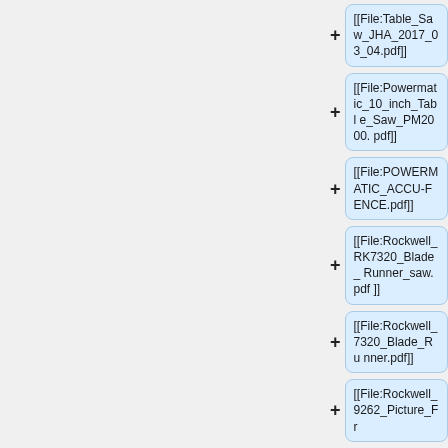[[File:Table_Saw_JHA_2017_03_04.pdf]]
[[File:Powermatic_10_inch_Table_Saw_PM2000.pdf]]
[[File:POWERMATIC_ACCU-FENCE.pdf]]
[[File:Rockwell_RK7320_Blade_Runner_saw.pdf]]
[[File:Rockwell_7320_Blade_Runner.pdf]]
[[File:Rockwell_9262_Picture_Fr